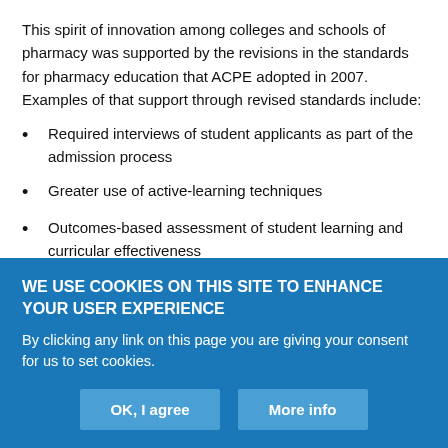This spirit of innovation among colleges and schools of pharmacy was supported by the revisions in the standards for pharmacy education that ACPE adopted in 2007. Examples of that support through revised standards include:
Required interviews of student applicants as part of the admission process
Greater use of active-learning techniques
Outcomes-based assessment of student learning and curricular effectiveness
WE USE COOKIES ON THIS SITE TO ENHANCE YOUR USER EXPERIENCE
By clicking any link on this page you are giving your consent for us to set cookies.